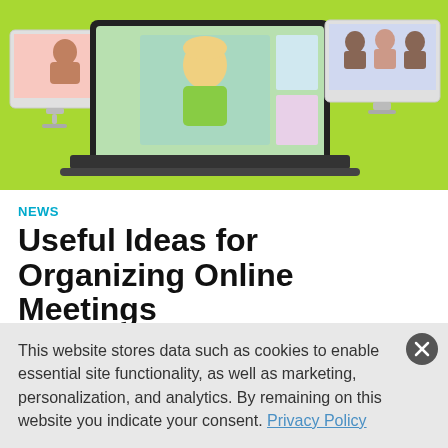[Figure (illustration): Illustration of computers and monitors showing video conference screens with cartoon characters on a green background]
NEWS
Useful Ideas for Organizing Online Meetings
Author: ChemistryViews.org
Mathias Micheel, University of Jena, Germany, and colleagues
report on their experience hosting the multi-day Catalight Young
This website stores data such as cookies to enable essential site functionality, as well as marketing, personalization, and analytics. By remaining on this website you indicate your consent. Privacy Policy